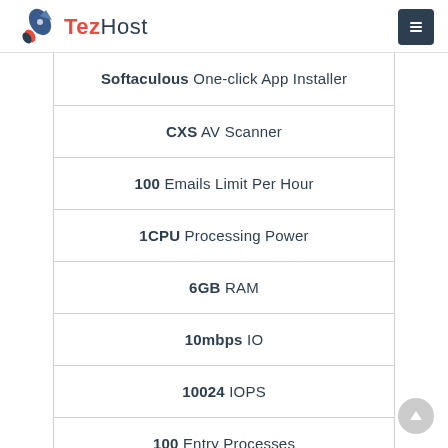TezHost
Softaculous One-click App Installer
CXS AV Scanner
100 Emails Limit Per Hour
1CPU Processing Power
6GB RAM
10mbps IO
10024 IOPS
100 Entry Processes
120 NPROC